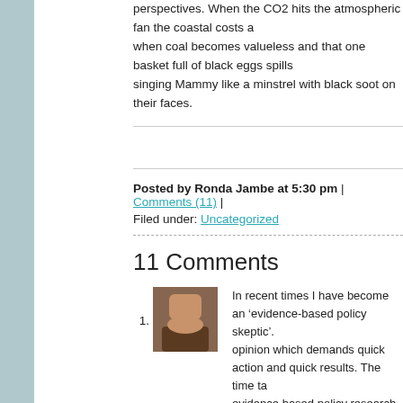perspectives. When the CO2 hits the atmospheric fan the coastal costs and when coal becomes valueless and that one basket full of black eggs spills singing Mammy like a minstrel with black soot on their faces.
Posted by Ronda Jambe at 5:30 pm | Comments (11) | Filed under: Uncategorized
11 Comments
In recent times I have become an ‘evidence-based policy skeptic’. opinion which demands quick action and quick results. The time ta evidence based policy research is not ideal for political parties wh ACTIVE. Hence, they opt for quick polls and market research (not development. Because of this, issues such as drug legalisation wi media spotlight.